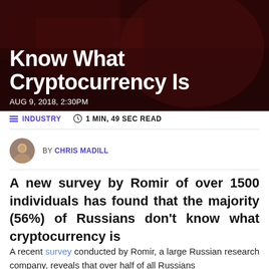[Figure (photo): Dark red-tinted hero image of a person, partially visible, with overlaid article title and date]
Cryptocurrency Is
AUG 9, 2018, 2:30PM
INDUSTRY   1 MIN, 49 SEC READ
BY CHRIS MADILL
A new survey by Romir of over 1500 individuals has found that the majority (56%) of Russians don't know what cryptocurrency is
A recent survey conducted by Romir, a large Russian research company, reveals that over half of all Russians